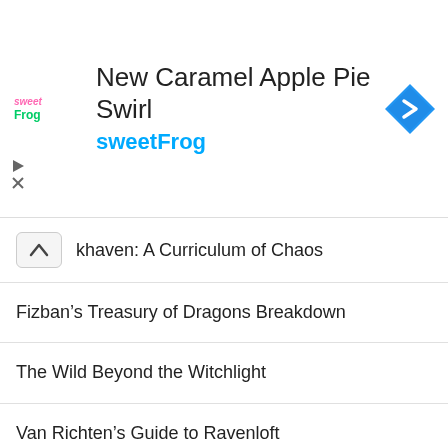[Figure (other): SweetFrog advertisement banner with logo, title 'New Caramel Apple Pie Swirl', subtitle 'sweetFrog', and a blue navigation arrow icon]
khaven: A Curriculum of Chaos
Fizban’s Treasury of Dragons Breakdown
The Wild Beyond the Witchlight
Van Richten’s Guide to Ravenloft
Candlekeep Mysteries
Tasha’s Cauldron of Everything
Icewind Dale: Rime of the Frostmaiden
Mythic Odysseys of Theros